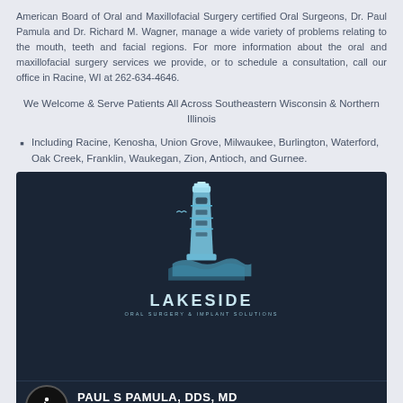American Board of Oral and Maxillofacial Surgery certified Oral Surgeons, Dr. Paul Pamula and Dr. Richard M. Wagner, manage a wide variety of problems relating to the mouth, teeth and facial regions. For more information about the oral and maxillofacial surgery services we provide, or to schedule a consultation, call our office in Racine, WI at 262-634-4646.
We Welcome & Serve Patients All Across Southeastern Wisconsin & Northern Illinois
Including Racine, Kenosha, Union Grove, Milwaukee, Burlington, Waterford, Oak Creek, Franklin, Waukegan, Zion, Antioch, and Gurnee.
[Figure (logo): Lakeside Oral Surgery & Implant Solutions logo featuring a lighthouse illustration in light blue on dark navy background, with LAKESIDE in large letters and ORAL SURGERY & IMPLANT SOLUTIONS below, followed by doctor names PAUL S PAMULA, DDS, MD and RICHARD M WAGNER, DDS with a wheelchair accessibility icon]